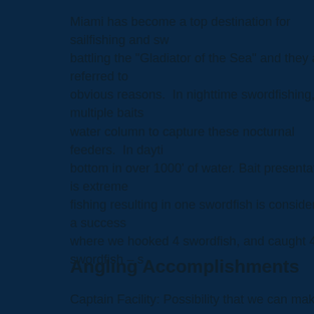Miami has become a top destination for sailfishing and sw battling the "Gladiator of the Sea" and they are referred to obvious reasons. In nighttime swordfishing, multiple baits water column to capture these nocturnal feeders. In dayti bottom in over 1000' of water. Bait presentation is extreme fishing resulting in one swordfish is considered a success where we hooked 4 swordfish, and caught 4 swordfish – s
Angling Accomplishments
Captain Facility: Possibility that we can make a number of...